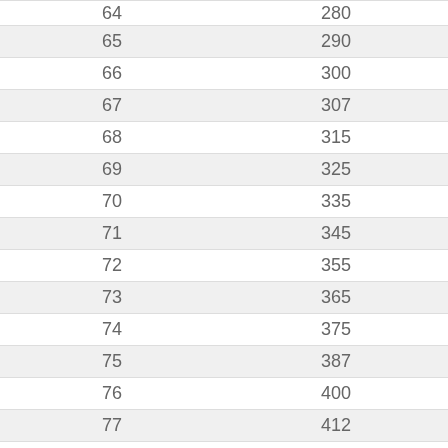| 64 | 280 |
| 65 | 290 |
| 66 | 300 |
| 67 | 307 |
| 68 | 315 |
| 69 | 325 |
| 70 | 335 |
| 71 | 345 |
| 72 | 355 |
| 73 | 365 |
| 74 | 375 |
| 75 | 387 |
| 76 | 400 |
| 77 | 412 |